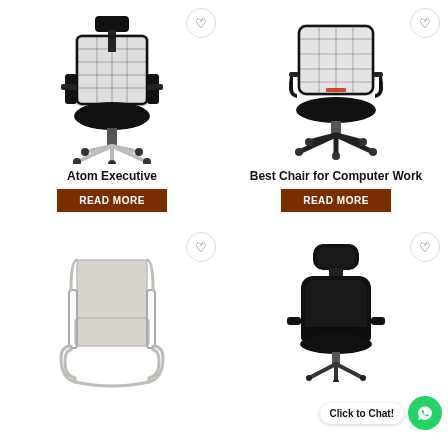[Figure (photo): Black mesh office chair with headrest and silver star base on wheels - Atom Executive]
[Figure (photo): Black mesh mid-back office chair with black base on wheels - Best Chair for Computer Work]
Atom Executive
READ MORE
Best Chair for Computer Work
READ MORE
[Figure (photo): White/cream cantilever frame visitor chair with padded seat]
[Figure (photo): Black leather high-back executive chair with headrest]
Click to Chat!